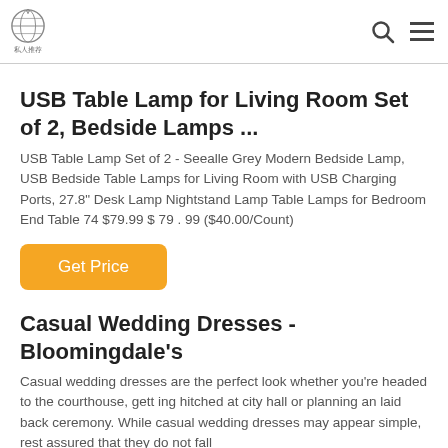Header with logo, search icon, and menu icon
USB Table Lamp for Living Room Set of 2, Bedside Lamps ...
USB Table Lamp Set of 2 - Seealle Grey Modern Bedside Lamp, USB Bedside Table Lamps for Living Room with USB Charging Ports, 27.8" Desk Lamp Nightstand Lamp Table Lamps for Bedroom End Table 74 $79.99 $ 79 . 99 ($40.00/Count)
Get Price
Casual Wedding Dresses - Bloomingdale's
Casual wedding dresses are the perfect look whether you're headed to the courthouse, getting hitched at city hall or planning an laid back ceremony. While casual wedding dresses may appear simple, rest assured that they do not fall